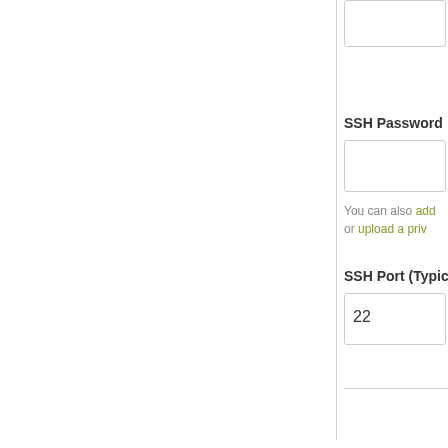[Figure (screenshot): Partial view of a web form showing SSH configuration fields: SSH Password label with input box, helper text with links, and SSH Port field with value 22]
SSH Password
You can also add or upload a priv
SSH Port (Typic
22